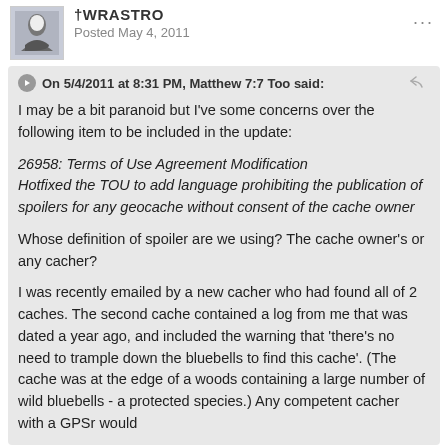WRASTRO — Posted May 4, 2011
On 5/4/2011 at 8:31 PM, Matthew 7:7 Too said:
I may be a bit paranoid but I've some concerns over the following item to be included in the update:
26958: Terms of Use Agreement Modification
Hotfixed the TOU to add language prohibiting the publication of spoilers for any geocache without consent of the cache owner
Whose definition of spoiler are we using? The cache owner's or any cacher?
I was recently emailed by a new cacher who had found all of 2 caches. The second cache contained a log from me that was dated a year ago, and included the warning that 'there's no need to trample down the bluebells to find this cache'. (The cache was at the edge of a woods containing a large number of wild bluebells - a protected species.) Any competent cacher with a GPSr would